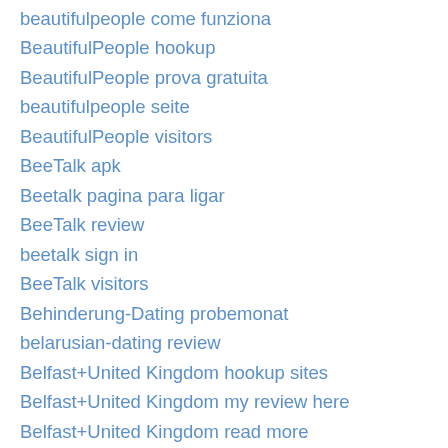beautifulpeople come funziona
BeautifulPeople hookup
BeautifulPeople prova gratuita
beautifulpeople seite
BeautifulPeople visitors
BeeTalk apk
Beetalk pagina para ligar
BeeTalk review
beetalk sign in
BeeTalk visitors
Behinderung-Dating probemonat
belarusian-dating review
Belfast+United Kingdom hookup sites
Belfast+United Kingdom my review here
Belfast+United Kingdom read more
Belfast+United Kingdom try here
belgium-dating review
Belleville+Canada my review here